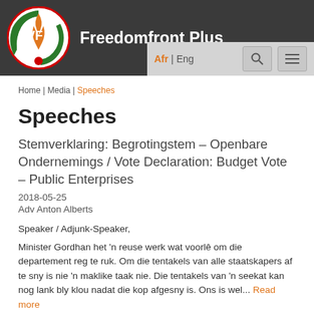Freedomfront Plus
Home | Media | Speeches
Speeches
Stemverklaring: Begrotingstem – Openbare Ondernemings / Vote Declaration: Budget Vote – Public Enterprises
2018-05-25
Adv Anton Alberts
Speaker / Adjunk-Speaker,
Minister Gordhan het 'n reuse werk wat voorlê om die departement reg te ruk. Om die tentakels van alle staatskapers af te sny is nie 'n maklike taak nie. Die tentakels van 'n seekat kan nog lank bly klou nadat die kop afgesny is. Ons is wel... Read more